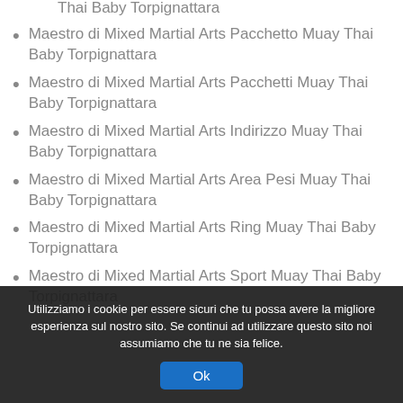Maestro di Mixed Martial Arts Prezzi Muay Thai Baby Torpignattara
Maestro di Mixed Martial Arts Pacchetto Muay Thai Baby Torpignattara
Maestro di Mixed Martial Arts Pacchetti Muay Thai Baby Torpignattara
Maestro di Mixed Martial Arts Indirizzo Muay Thai Baby Torpignattara
Maestro di Mixed Martial Arts Area Pesi Muay Thai Baby Torpignattara
Maestro di Mixed Martial Arts Ring Muay Thai Baby Torpignattara
Maestro di Mixed Martial Arts Sport Muay Thai Baby Torpignattara
Utilizziamo i cookie per essere sicuri che tu possa avere la migliore esperienza sul nostro sito. Se continui ad utilizzare questo sito noi assumiamo che tu ne sia felice.